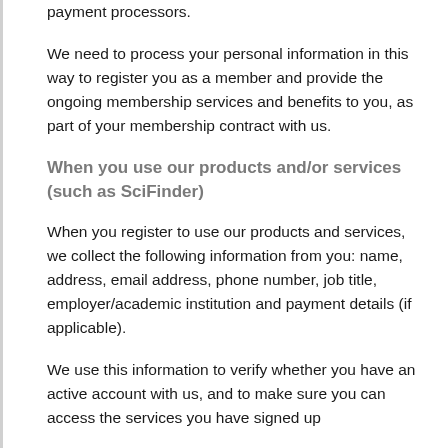payment processors.
We need to process your personal information in this way to register you as a member and provide the ongoing membership services and benefits to you, as part of your membership contract with us.
When you use our products and/or services (such as SciFinder)
When you register to use our products and services, we collect the following information from you: name, address, email address, phone number, job title, employer/academic institution and payment details (if applicable).
We use this information to verify whether you have an active account with us, and to make sure you can access the services you have signed up